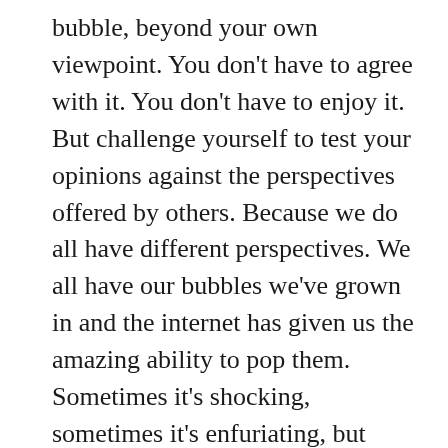bubble, beyond your own viewpoint. You don't have to agree with it. You don't have to enjoy it. But challenge yourself to test your opinions against the perspectives offered by others. Because we do all have different perspectives. We all have our bubbles we've grown in and the internet has given us the amazing ability to pop them. Sometimes it's shocking, sometimes it's enfuriating, but sometimes it's enlightening. Get out there and LEARN. Funny enough, the more you learn about another opinion, the more educated it can make you about your own.
I hate stereotypes. I hate assumptions. I hate being lumped together with a group of people